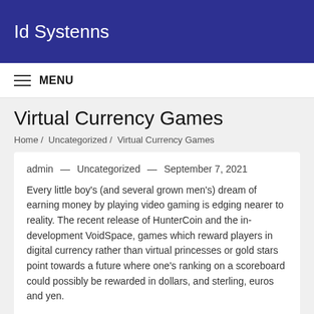Id Systenns
MENU
Virtual Currency Games
Home / Uncategorized / Virtual Currency Games
admin — Uncategorized — September 7, 2021
Every little boy's (and several grown men's) dream of earning money by playing video gaming is edging nearer to reality. The recent release of HunterCoin and the in-development VoidSpace, games which reward players in digital currency rather than virtual princesses or gold stars point towards a future where one's ranking on a scoreboard could possibly be rewarded in dollars, and sterling, euros and yen.
The story of the millionaire (virtual) agent...